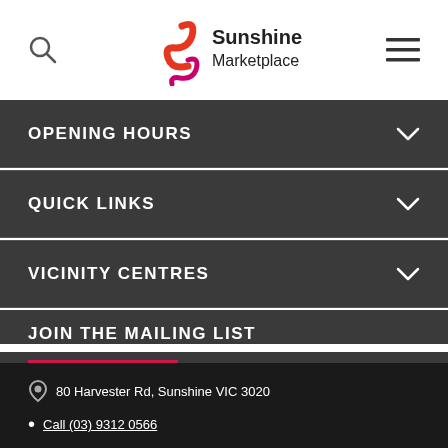Sunshine Marketplace
OPENING HOURS
QUICK LINKS
VICINITY CENTRES
JOIN THE MAILING LIST
SIGN UP
80 Harvester Rd, Sunshine VIC 3020
Call (03) 9312 0566